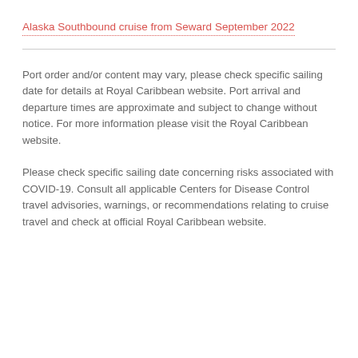Alaska Southbound cruise from Seward September 2022
Port order and/or content may vary, please check specific sailing date for details at Royal Caribbean website. Port arrival and departure times are approximate and subject to change without notice. For more information please visit the Royal Caribbean website.
Please check specific sailing date concerning risks associated with COVID-19. Consult all applicable Centers for Disease Control travel advisories, warnings, or recommendations relating to cruise travel and check at official Royal Caribbean website.